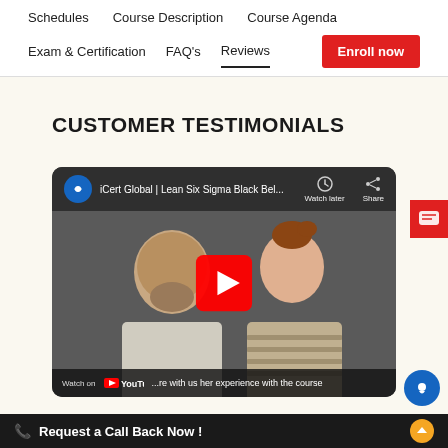Schedules   Course Description   Course Agenda
Exam & Certification   FAQ's   Reviews   Enroll now
CUSTOMER TESTIMONIALS
[Figure (screenshot): YouTube video thumbnail showing two people (a bald man and a woman with red hair) sitting in front of a light background. The video title reads 'iCert Global | Lean Six Sigma Black Bel...' with Watch later and Share buttons. A red YouTube play button is visible in the center. Bottom bar shows 'Watch on YouTube' and text '...re with us her experience with the course']
Request a Call Back Now !